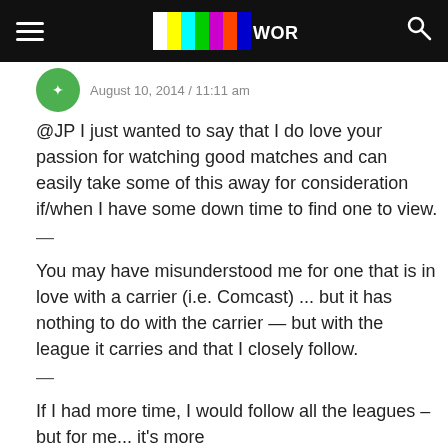World Soccer Talk
@JP I just wanted to say that I do love your passion for watching good matches and can easily take some of this away for consideration if/when I have some down time to find one to view.
—
You may have misunderstood me for one that is in love with a carrier (i.e. Comcast) ... but it has nothing to do with the carrier — but with the league it carries and that I closely follow.
—
If I had more time, I would follow all the leagues – but for me... it's more